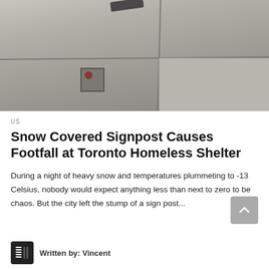[Figure (photo): Sidewalk/pavement scene showing concrete slabs with cracks, a metal signpost stump/base on the ground, and a partial view of a shoe at the top.]
US
Snow Covered Signpost Causes Footfall at Toronto Homeless Shelter
During a night of heavy snow and temperatures plummeting to -13 Celsius, nobody would expect anything less than next to zero to be chaos. But the city left the stump of a sign post...
Written by: Vincent